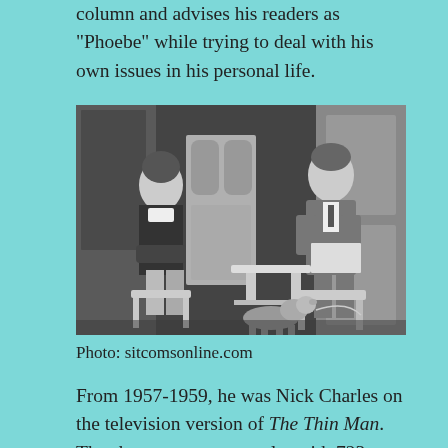column and advises his readers as “Phoebe” while trying to deal with his own issues in his personal life.
[Figure (photo): Black and white photograph of a woman in dark clothing seated on the left and a man in a suit seated on the right at a small table, with a small dog (terrier) at their feet. Indoor scene with furniture and paneled walls.]
Photo: sitcomsonline.com
From 1957-1959, he was Nick Charles on the television version of The Thin Man. The show was very popular with 723 episodes filmed. Similar to the films, Nick